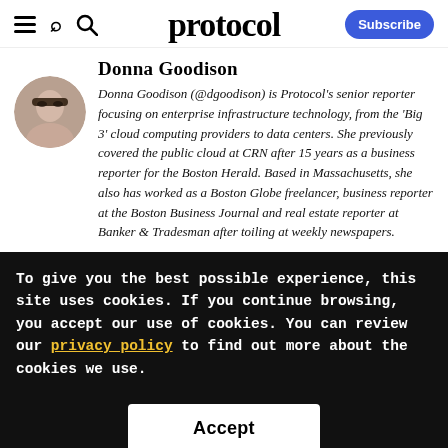protocol
Donna Goodison
Donna Goodison (@dgoodison) is Protocol's senior reporter focusing on enterprise infrastructure technology, from the 'Big 3' cloud computing providers to data centers. She previously covered the public cloud at CRN after 15 years as a business reporter for the Boston Herald. Based in Massachusetts, she also has worked as a Boston Globe freelancer, business reporter at the Boston Business Journal and real estate reporter at Banker & Tradesman after toiling at weekly newspapers.
To give you the best possible experience, this site uses cookies. If you continue browsing, you accept our use of cookies. You can review our privacy policy to find out more about the cookies we use.
Accept